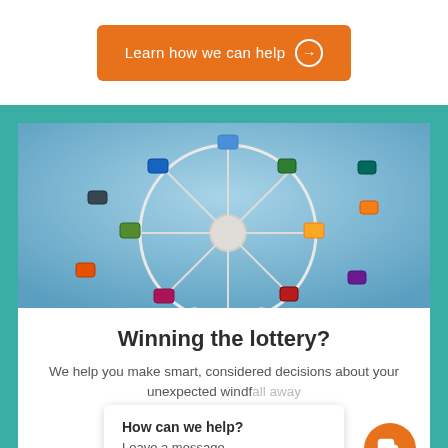[Figure (other): Orange button with text 'Learn how we can help' and right-arrow circle icon]
[Figure (photo): Photograph of a colorful Ferris wheel with gondolas (blue, green, yellow, orange, red, pink) against a blue sky]
Winning the lottery?
We help you make smart, considered decisions about your unexpected windf... wa...
[Figure (screenshot): Chat popup widget with title 'How can we help?' and subtitle 'Leave a message', and an orange chat bubble button]